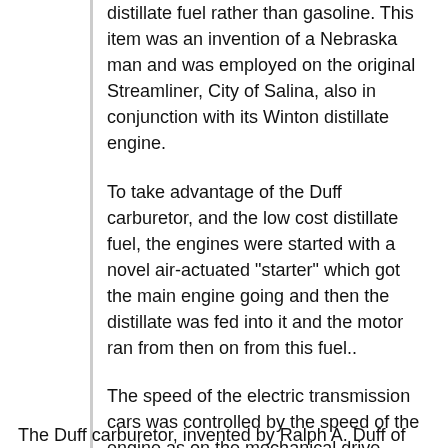distillate fuel rather than gasoline. This item was an invention of a Nebraska man and was employed on the original Streamliner, City of Salina, also in conjunction with its Winton distillate engine.
To take advantage of the Duff carburetor, and the low cost distillate fuel, the engines were started with a novel air-actuated "starter" which got the main engine going and then the distillate was fed into it and the motor ran from then on from this fuel..
The speed of the electric transmission cars was controlled by the speed of the engine as on the mechanical drive McKeen cars. The engine burned regular furnace fuel, made possible by the use of the Duff carburetors. The UP, though not generally known, was a pioneer in the use of distillate fuel.
The Duff carburetor, invented by Ralph A. Duff of